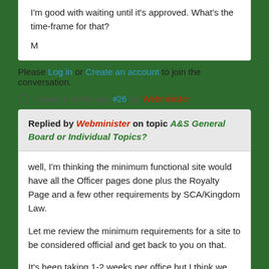I'm good with waiting until it's approved. What's the time-frame for that?

M
Please Log in or Create an account to join the conversation.
7 years 1 month ago #26 by Webminister
Replied by Webminister on topic A&S General Board or Individual Topics?
well, I'm thinking the minimum functional site would have all the Officer pages done plus the Royalty Page and a few other requirements by SCA/Kingdom Law.

Let me review the minimum requirements for a site to be considered official and get back to you on that.

It's been taking 1-2 weeks per office but I think we just